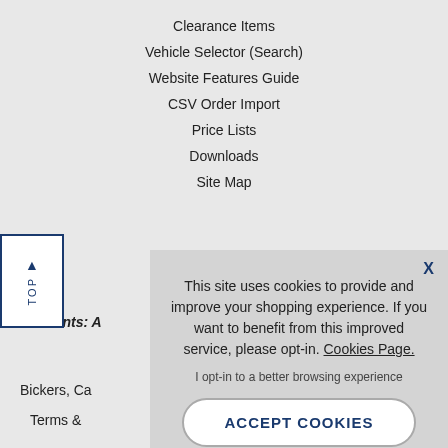Clearance Items
Vehicle Selector (Search)
Website Features Guide
CSV Order Import
Price Lists
Downloads
Site Map
Mo
Trade Accounts: A
Bickers, Ca
Terms &
This site uses cookies to provide and improve your shopping experience. If you want to benefit from this improved service, please opt-in. Cookies Page.
I opt-in to a better browsing experience
ACCEPT COOKIES